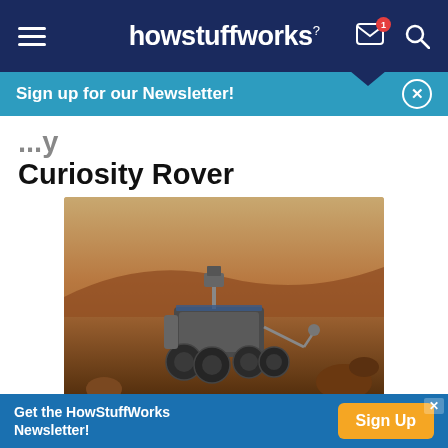howstuffworks
Sign up for our Newsletter!
Curiosity Rover
[Figure (photo): Artistic rendering of the NASA Curiosity Mars Rover on the Martian surface, with red rocky terrain and a sandy sky in the background. The rover is shown with its robotic arm extended and mast camera visible.]
Illustrated here is one of the newest
Get the HowStuffWorks Newsletter!